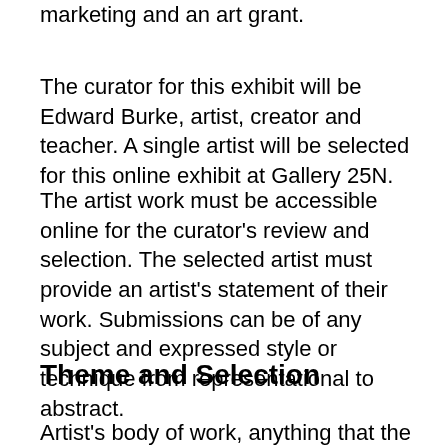marketing and an art grant.
The curator for this exhibit will be Edward Burke, artist, creator and teacher. A single artist will be selected for this online exhibit at Gallery 25N.
The artist work must be accessible online for the curator's review and selection. The selected artist must provide an artist's statement of their work. Submissions can be of any subject and expressed style or technique from representational to abstract.
Theme and Selection
Artist's body of work, anything that the artist